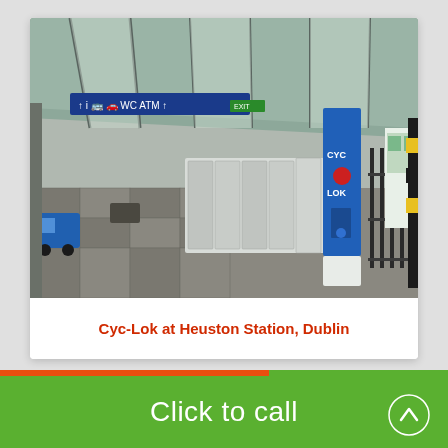[Figure (photo): Photo of Cyc-Lok bicycle lockers installed on the platform at Heuston Station, Dublin. A row of white and blue secure bicycle storage lockers is visible on a train station platform with a glass roof. A blue sign with information icons hangs overhead. A train is visible on the right side.]
Cyc-Lok at Heuston Station, Dublin
Click to call